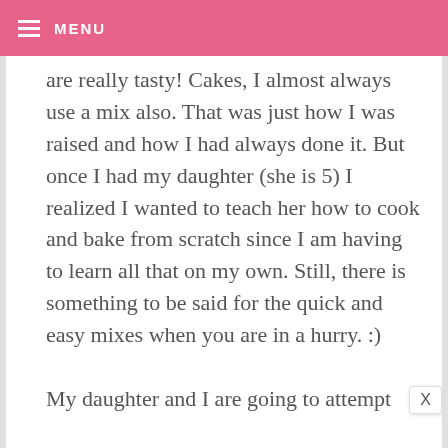MENU
are really tasty! Cakes, I almost always use a mix also. That was just how I was raised and how I had always done it. But once I had my daughter (she is 5) I realized I wanted to teach her how to cook and bake from scratch since I am having to learn all that on my own. Still, there is something to be said for the quick and easy mixes when you are in a hurry. :)

My daughter and I are going to attempt